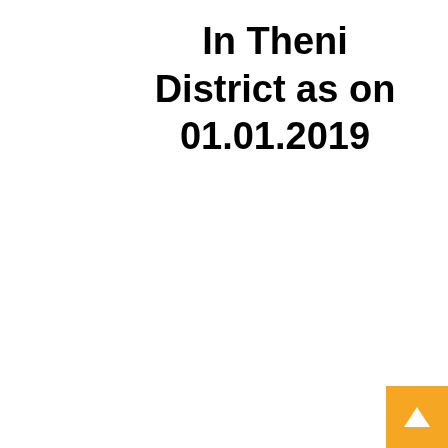In Theni District as on 01.01.2019